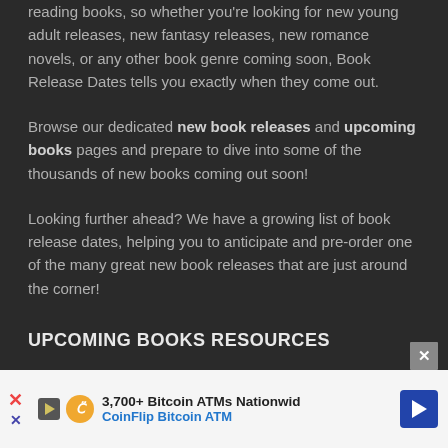reading books, so whether you're looking for new young adult releases, new fantasy releases, new romance novels, or any other book genre coming soon, Book Release Dates tells you exactly when they come out.
Browse our dedicated new book releases and upcoming books pages and prepare to dive into some of the thousands of new books coming out soon!
Looking further ahead? We have a growing list of book release dates, helping you to anticipate and pre-order one of the many great new book releases that are just around the corner!
UPCOMING BOOKS RESOURCES
Book Release Dates 2019
Book Release Dates 2020
[Figure (other): Advertisement banner for CoinFlip Bitcoin ATM showing '3,700+ Bitcoin ATMs Nationwid' with play button icon, coin icon, and blue arrow.]